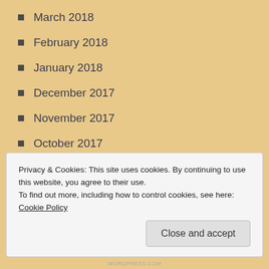March 2018
February 2018
January 2018
December 2017
November 2017
October 2017
September 2017
August 2017
July 2017
June 2017
May 2017
Privacy & Cookies: This site uses cookies. By continuing to use this website, you agree to their use.
To find out more, including how to control cookies, see here: Cookie Policy
Close and accept